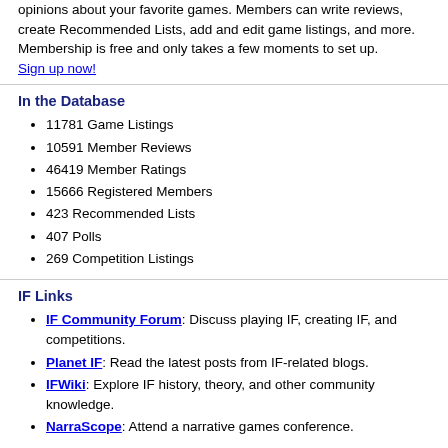opinions about your favorite games. Members can write reviews, create Recommended Lists, add and edit game listings, and more. Membership is free and only takes a few moments to set up. Sign up now!
In the Database
11781 Game Listings
10591 Member Reviews
46419 Member Ratings
15666 Registered Members
423 Recommended Lists
407 Polls
269 Competition Listings
IF Links
IF Community Forum: Discuss playing IF, creating IF, and competitions.
Planet IF: Read the latest posts from IF-related blogs.
IFWiki: Explore IF history, theory, and other community knowledge.
NarraScope: Attend a narrative games conference.
Competition Links